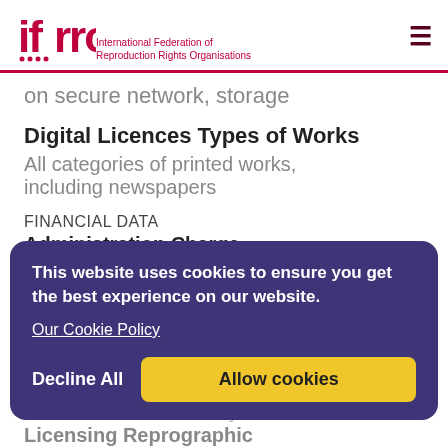[Figure (logo): IFRRO logo - International Federation of Reproduction Rights Organisations, red logo with text]
on secure network, storage
Digital Licences Types of Works
All categories of printed works, including newspapers
FINANCIAL DATA
Administration Charge
$26,452,810
Amount Business
Amount Collected Licensing Reprographic
$55,064,369
Amount Collected Nationally Licensing Reprographic
This website uses cookies to ensure you get the best experience on our website.
Our Cookie Policy
Decline All
Allow cookies